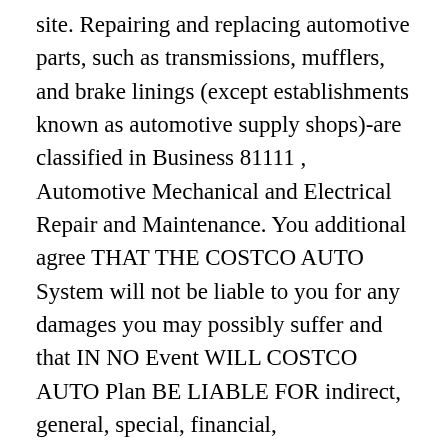site. Repairing and replacing automotive parts, such as transmissions, mufflers, and brake linings (except establishments known as automotive supply shops)-are classified in Business 81111 , Automotive Mechanical and Electrical Repair and Maintenance. You additional agree THAT THE COSTCO AUTO System will not be liable to you for any damages you may possibly suffer and that IN NO Event WILL COSTCO AUTO Plan BE LIABLE FOR indirect, general, special, financial, consequential, EXEMPLARY or punitive damages resulting from the use of (or inability to use) this Website or any cap service, regardless of whether in tort (such as negligence), contract or any other result in of action, such as without having limitation, for availability of any cap service, loss